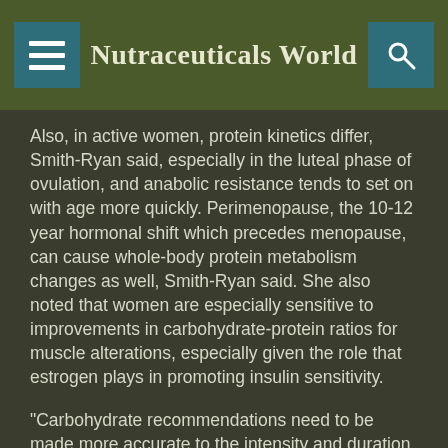Nutraceuticals World
Also, in active women, protein kinetics differ, Smith-Ryan said, especially in the luteal phase of ovulation, and anabolic resistance tends to set on with age more quickly. Perimenopause, the 10-12 year hormonal shift which precedes menopause, can cause whole-body protein metabolism changes as well, Smith-Ryan said. She also noted that women are especially sensitive to improvements in carbohydrate-protein ratios for muscle alterations, especially given the role that estrogen plays in promoting insulin sensitivity.
"Carbohydrate recommendations need to be made more accurate to the intensity and duration of activity in active women," she said. "We could debate on what a moderate-
[Figure (screenshot): Advertisement banner: 'Where food moves forward' with Fi and Health Ingredients logos, green Register for free button, and close X button]